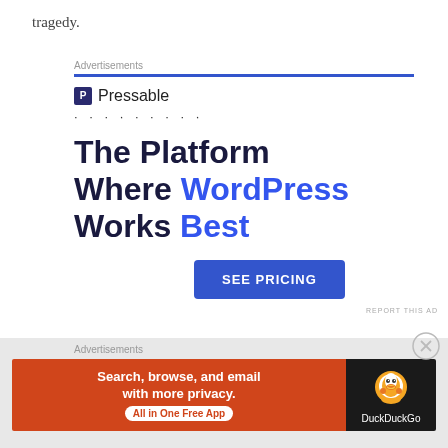tragedy.
Advertisements
[Figure (infographic): Pressable advertisement banner: logo with 'P' icon and 'Pressable' text, decorative dots, headline 'The Platform Where WordPress Works Best' with 'WordPress' and 'Best' in blue, and a blue 'SEE PRICING' button]
REPORT THIS AD
Share this:
Advertisements
[Figure (infographic): DuckDuckGo advertisement: orange background with 'Search, browse, and email with more privacy. All in One Free App' and DuckDuckGo duck logo on black background]